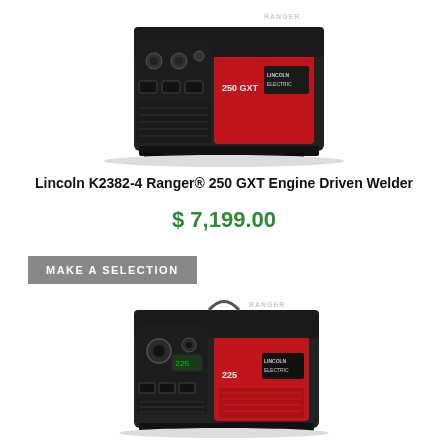[Figure (photo): Lincoln Electric Ranger 250 GXT engine driven welder, red and black unit, front and side view]
Lincoln K2382-4 Ranger® 250 GXT Engine Driven Welder
$ 7,199.00
MAKE A SELECTION
[Figure (photo): Lincoln Electric Ranger 225 engine driven welder, red and black unit, front and side view]